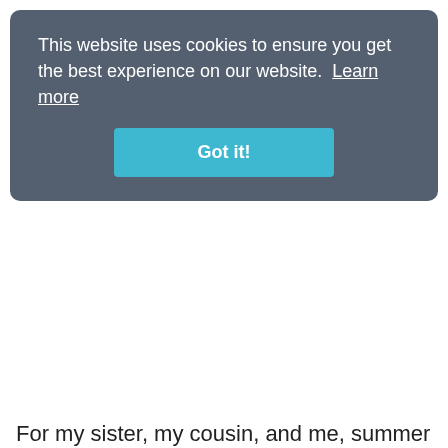This website uses cookies to ensure you get the best experience on our website.  Learn more
Got it!
For my sister, my cousin, and me, summer camp was a right of passage. Three glorious years in a row, our parents splurged on us big time: footing the bill for a week away — no grown-ups allowed! And while my memories of swimming in the lake, candlemaking, rock climbing, and drying our swimsuits on clotheslines stretched between our bunk beds never cease to bring a smile to my face, the horseback riding was the thing I